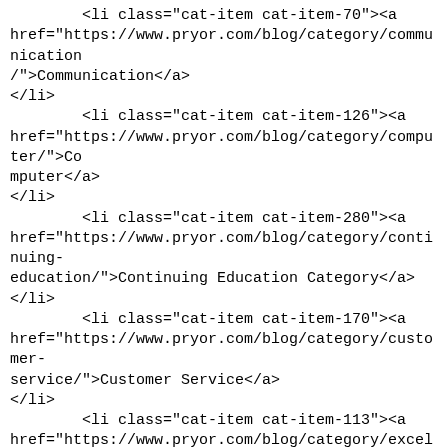<li class="cat-item cat-item-70"><a href="https://www.pryor.com/blog/category/communication/">Communication</a>
</li>
        <li class="cat-item cat-item-126"><a href="https://www.pryor.com/blog/category/computer/">Computer</a>
</li>
        <li class="cat-item cat-item-280"><a href="https://www.pryor.com/blog/category/continuing-education/">Continuing Education Category</a>
</li>
        <li class="cat-item cat-item-170"><a href="https://www.pryor.com/blog/category/customer-service/">Customer Service</a>
</li>
        <li class="cat-item cat-item-113"><a href="https://www.pryor.com/blog/category/excel-training/">Excel Training</a>
</li>
        <li class="cat-item cat-item-12"><a href="https://www.pryor.com/blog/category/excel/">Excel®</a>
<ul class='children'>
        <li class="cat-item cat-item-115"><a href="https://www.pryor.com/blog/category/excel/advanced_excel/">Advanced Excel</a>
</li>
        <li class="cat-item cat-item-108"><a href="https://www.pryor.com/blog/category/excel/array-formula/">Array Formula</a>